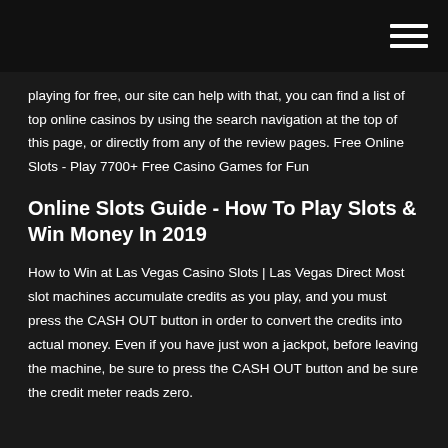playing for free, our site can help with that, you can find a list of top online casinos by using the search navigation at the top of this page, or directly from any of the review pages. Free Online Slots - Play 7700+ Free Casino Games for Fun
Online Slots Guide - How To Play Slots & Win Money In 2019
How to Win at Las Vegas Casino Slots | Las Vegas Direct Most slot machines accumulate credits as you play, and you must press the CASH OUT button in order to convert the credits into actual money. Even if you have just won a jackpot, before leaving the machine, be sure to press the CASH OUT button and be sure the credit meter reads zero.